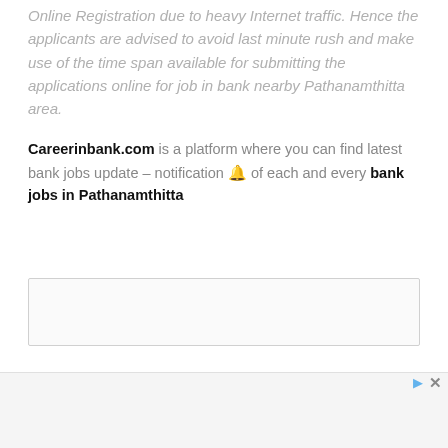Online Registration due to heavy Internet traffic. Hence the applicants are advised to avoid last minute rush and make use of the time span available for submitting the applications online for job in bank nearby Pathanamthitta area.
Careerinbank.com is a platform where you can find latest bank jobs update – notification 🔔 of each and every bank jobs in Pathanamthitta
[Figure (other): Empty comment/input box with light border]
[Figure (other): Advertisement bar at bottom with play and close icons]